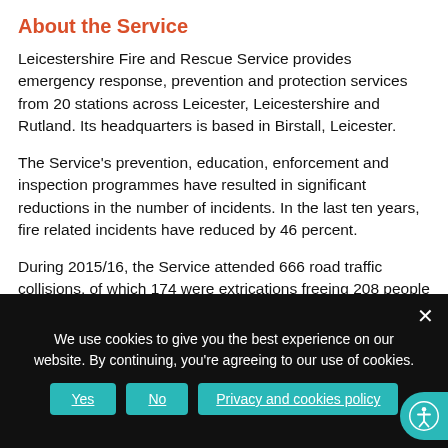About the Service
Leicestershire Fire and Rescue Service provides emergency response, prevention and protection services from 20 stations across Leicester, Leicestershire and Rutland. Its headquarters is based in Birstall, Leicester.
The Service's prevention, education, enforcement and inspection programmes have resulted in significant reductions in the number of incidents. In the last ten years, fire related incidents have reduced by 46 percent.
During 2015/16, the Service attended 666 road traffic collisions, of which 174 were extrications freeing 208 people trapped inside their vehicles and completed 5086 home fire
We use cookies to give you the best experience on our website. By continuing, you're agreeing to our use of cookies.